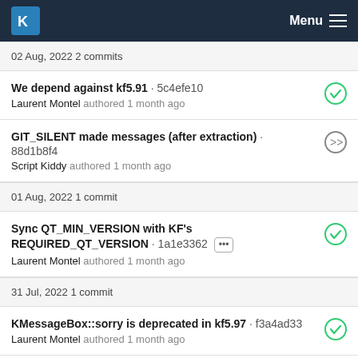KDE Menu
02 Aug, 2022 2 commits
We depend against kf5.91 · 5c4efe10
Laurent Montel authored 1 month ago
GIT_SILENT made messages (after extraction) · 88d1b8f4
Script Kiddy authored 1 month ago
01 Aug, 2022 1 commit
Sync QT_MIN_VERSION with KF's REQUIRED_QT_VERSION · 1a1e3362
Laurent Montel authored 1 month ago
31 Jul, 2022 1 commit
KMessageBox::sorry is deprecated in kf5.97 · f3a4ad33
Laurent Montel authored 1 month ago